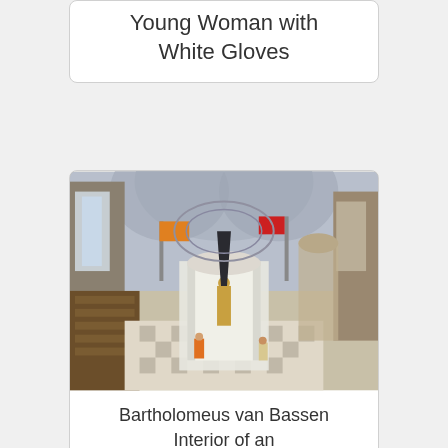Young Woman with White Gloves
[Figure (illustration): Painting of the interior of a large Gothic church. The nave has high vaulted ceilings with arches. In the center is an ornate white structure (tomb/monument). Small figures in orange and other clothing are visible on the checkered floor. Banners hang from the columns. Wooden pews are on the left side.]
Bartholomeus van Bassen Interior of an imaginary church with the tomb of William the Silent 1620